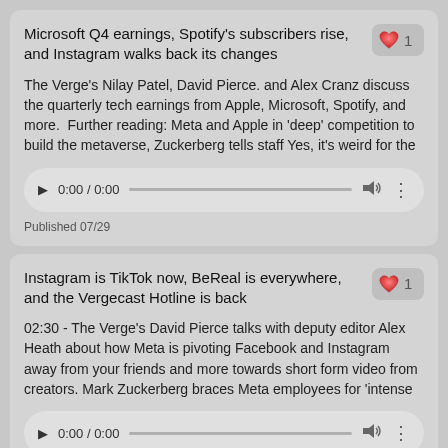Microsoft Q4 earnings, Spotify's subscribers rise, and Instagram walks back its changes
The Verge's Nilay Patel, David Pierce. and Alex Cranz discuss the quarterly tech earnings from Apple, Microsoft, Spotify, and more.  Further reading: Meta and Apple in 'deep' competition to build the metaverse, Zuckerberg tells staff Yes, it's weird for the
[Figure (other): Audio player showing 0:00 / 0:00 with play button, progress bar, volume, and more options]
Published 07/29
Instagram is TikTok now, BeReal is everywhere, and the Vergecast Hotline is back
02:30 - The Verge's David Pierce talks with deputy editor Alex Heath about how Meta is pivoting Facebook and Instagram away from your friends and more towards short form video from creators. Mark Zuckerberg braces Meta employees for 'intense
[Figure (other): Audio player showing 0:00 / 0:00 with play button, progress bar, volume, and more options]